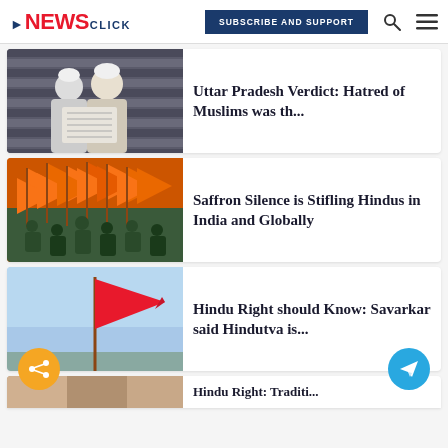NewsClick — SUBSCRIBE AND SUPPORT
[Figure (photo): Two men in white caps reading a newspaper]
Uttar Pradesh Verdict: Hatred of Muslims was th...
[Figure (photo): Crowd of people waving saffron/orange flags]
Saffron Silence is Stifling Hindus in India and Globally
[Figure (photo): Red flag waving against a sky background]
Hindu Right should Know: Savarkar said Hindutva is...
[Figure (photo): Partial bottom image, cut off]